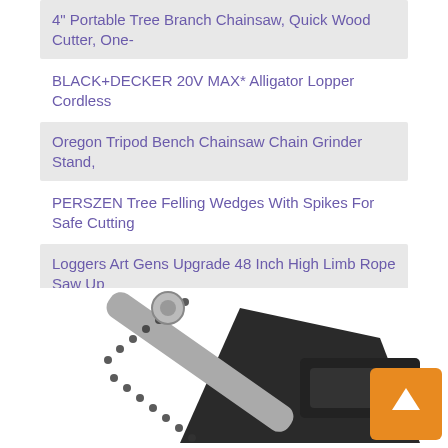4" Portable Tree Branch Chainsaw, Quick Wood Cutter, One-
BLACK+DECKER 20V MAX* Alligator Lopper Cordless
Oregon Tripod Bench Chainsaw Chain Grinder Stand,
PERSZEN Tree Felling Wedges With Spikes For Safe Cutting
Loggers Art Gens Upgrade 48 Inch High Limb Rope Saw Up
WORX WG320 20V Power Share JawSaw Cordless Chainsaw
AS 16-Inch Low Noise Cordless Chainsaw, 40V 5.0Ah
1. 4 INCH MINI CHAINSAW CORDLESS
[Figure (photo): Photograph of a small handheld mini chainsaw in grayscale, showing the bar and chain of the saw in a diagonal orientation. An orange scroll-to-top button is visible at the bottom right.]